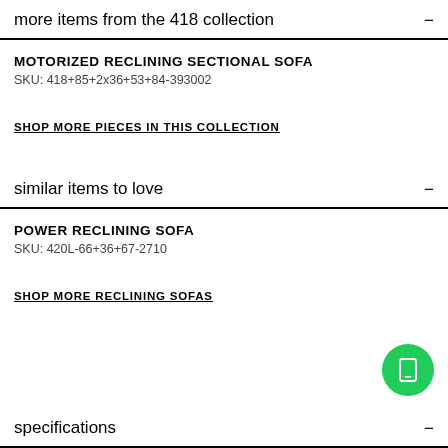more items from the 418 collection
MOTORIZED RECLINING SECTIONAL SOFA
SKU: 418+85+2x36+53+84-393002
SHOP MORE PIECES IN THIS COLLECTION
similar items to love
POWER RECLINING SOFA
SKU: 420L-66+36+67-2710
SHOP MORE RECLINING SOFAS
specifications